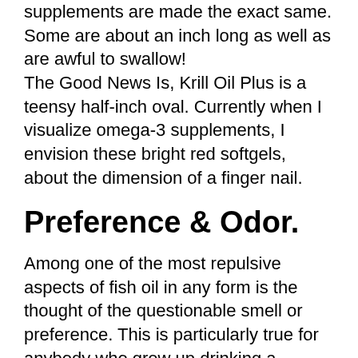supplements are made the exact same. Some are about an inch long as well as are awful to swallow! The Good News Is, Krill Oil Plus is a teensy half-inch oval. Currently when I visualize omega-3 supplements, I envision these bright red softgels, about the dimension of a finger nail.
Preference & Odor.
Among one of the most repulsive aspects of fish oil in any form is the thought of the questionable smell or preference. This is particularly true for anybody who grew up drinking a teaspoon of cod liver oil or taking an old- school fish oil tablet with the unpleasant aftertaste.